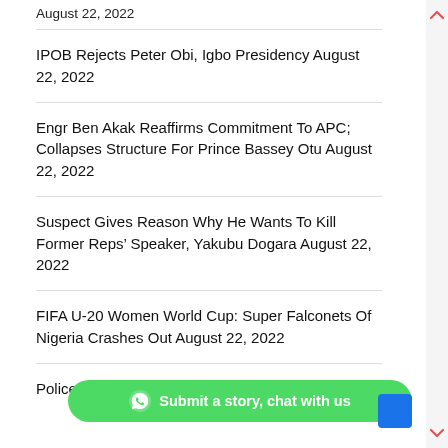August 22, 2022
IPOB Rejects Peter Obi, Igbo Presidency August 22, 2022
Engr Ben Akak Reaffirms Commitment To APC; Collapses Structure For Prince Bassey Otu August 22, 2022
Suspect Gives Reason Why He Wants To Kill Former Reps’ Speaker, Yakubu Dogara August 22, 2022
FIFA U-20 Women World Cup: Super Falconets Of Nigeria Crashes Out August 22, 2022
Police Investi… Over Family D… 21, 2022
Submit a story, chat with us